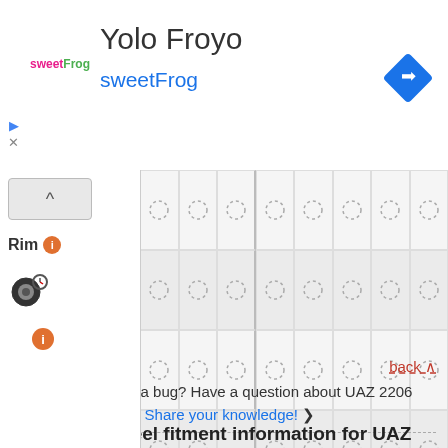[Figure (logo): Yolo Froyo sweetFrog advertisement banner with sweetFrog logo and navigation diamond icon]
[Figure (other): Wheel/tire selector grid with collapse button, Rim info row, tire icon row, info icon row, and 8x4 grid of spinner/loading icons on right side]
[Figure (other): Drag hint icon showing hand-arrow-hand gesture]
back ^
Heads up! Found a bug? Have a question about UAZ 2206 1999 wheel specs? Share your knowledge! >
See Alloy Wheel fitment information for UAZ